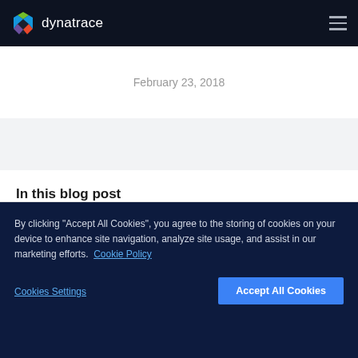dynatrace
February 23, 2018
In this blog post
#1 – The Dynatrace Problem Ticket
#2 – Problem Evolution
By clicking "Accept All Cookies", you agree to the storing of cookies on your device to enhance site navigation, analyze site usage, and assist in our marketing efforts. Cookie Policy
Cookies Settings | Accept All Cookies